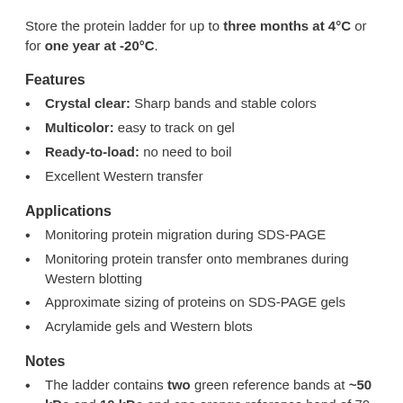Store the protein ladder for up to three months at 4°C or for one year at -20°C.
Features
Crystal clear: Sharp bands and stable colors
Multicolor: easy to track on gel
Ready-to-load: no need to boil
Excellent Western transfer
Applications
Monitoring protein migration during SDS-PAGE
Monitoring protein transfer onto membranes during Western blotting
Approximate sizing of proteins on SDS-PAGE gels
Acrylamide gels and Western blots
Notes
The ladder contains two green reference bands at ~50 kDa and 10 kDa and one orange reference band of 70